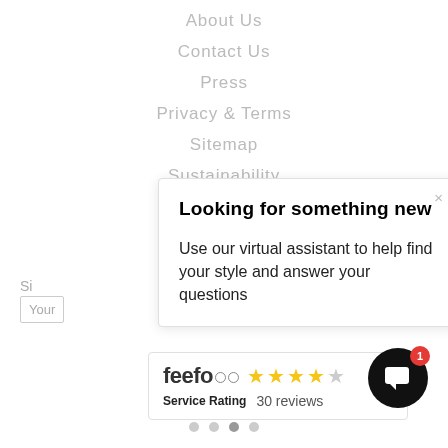About Us
Contact Us
Press
Privacy & Terms
Sitemap
Sustainability
Looking for something new
Use our virtual assistant to help find your style and answer your questions
[Figure (other): Feefo service rating widget showing 4 out of 5 stars and 30 reviews]
[Figure (other): Chat button icon (black circle with speech bubble icon and red badge showing 1)]
[Figure (other): Carousel dots indicator with 4 dots]